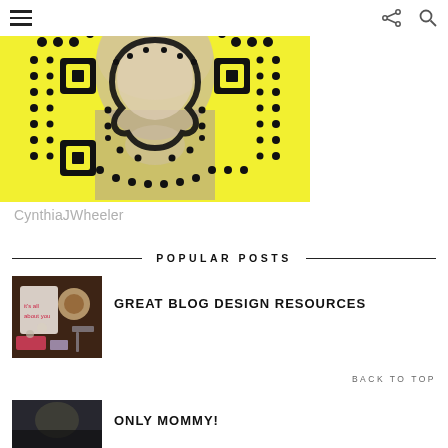≡  ⋮ 🔍
[Figure (photo): Snapchat snapcode QR code with woman's face visible through the ghost shape, yellow background with black dots pattern. Username: CynthiaJWheeler]
CynthiaJWheeler
POPULAR POSTS
[Figure (photo): Thumbnail photo: dark flat lay with notebook, tea cup, and stationery items]
GREAT BLOG DESIGN RESOURCES
BACK TO TOP
[Figure (photo): Thumbnail photo: dark image, partially visible]
ONLY MOMMY!